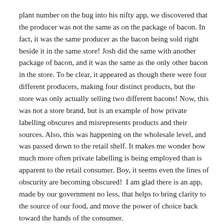plant number on the bug into his nifty app, we discovered that the producer was not the same as on the package of bacon. In fact, it was the same producer as the bacon being sold right beside it in the same store! Josh did the same with another package of bacon, and it was the same as the only other bacon in the store. To be clear, it appeared as though there were four different producers, making four distinct products, but the store was only actually selling two different bacons! Now, this was not a store brand, but is an example of how private labelling obscures and misrepresents products and their sources. Also, this was happening on the wholesale level, and was passed down to the retail shelf. It makes me wonder how much more often private labelling is being employed than is apparent to the retail consumer. Boy, it seems even the lines of obscurity are becoming obscured! I am glad there is an app, made by our government no less, that helps to bring clarity to the source of our food, and move the power of choice back toward the hands of the consumer.